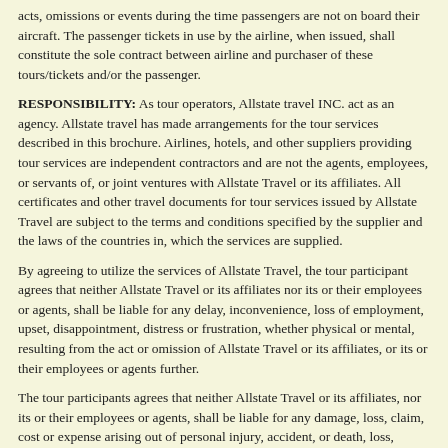acts, omissions or events during the time passengers are not on board their aircraft.  The passenger tickets in use by the airline, when issued, shall constitute the sole contract between airline and purchaser of these tours/tickets and/or the passenger.
RESPONSIBILITY:  As tour operators, Allstate travel INC. act as an agency.  Allstate travel has made arrangements for the tour services described in this brochure.  Airlines, hotels, and other suppliers providing tour services are independent contractors and are not the agents, employees, or servants of, or joint ventures with Allstate Travel or its affiliates.  All certificates and other travel documents for tour services issued by Allstate Travel are subject to the terms and conditions specified by the supplier and the laws of the countries in, which the services are supplied.
By agreeing to utilize the services of Allstate Travel, the tour participant agrees that neither Allstate Travel or its affiliates nor its or their employees or agents, shall be liable for any delay, inconvenience, loss of employment, upset, disappointment, distress or frustration, whether physical or mental, resulting from the act or omission of Allstate Travel or its affiliates, or its or their employees or agents further.
The tour participants agrees that neither Allstate Travel or its affiliates, nor its or their employees or agents, shall be liable for any damage, loss, claim, cost or expense arising out of personal injury, accident, or death, loss, damage or delay of baggage or other property, resulting from:
The act or omission on the part of any person other than Allstate Travel or its employees.